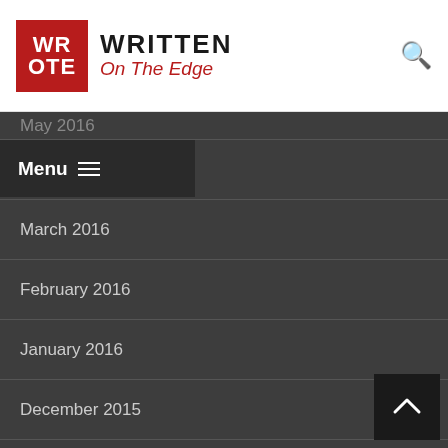Written On The Edge
May 2016
April 2016
March 2016
February 2016
January 2016
December 2015
November 2015
October 2015
September 2015
August 2015
July 2015